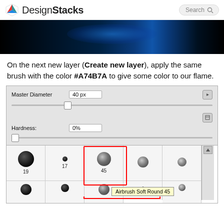DesignStacks
[Figure (screenshot): Dark blue gradient banner image]
On the next new layer (Create new layer), apply the same brush with the color #A74B7A to give some color to our flame.
[Figure (screenshot): Photoshop brush settings panel showing Master Diameter 40px, Hardness 0%, and brush preset picker with Airbrush Soft Round 45 selected (highlighted in red box with tooltip)]